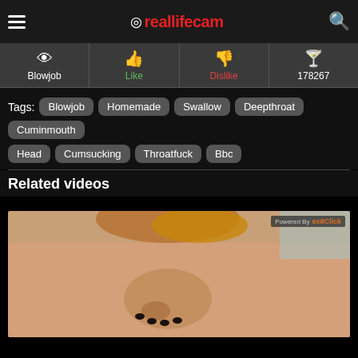oreallifecam
Blowjob | Like | Dislike | 178267
Tags: Blowjob Homemade Swallow Deepthroat Cuminmouth Head Cumsucking Throatfuck Bbc
Related videos
[Figure (photo): Advertisement image showing a person, with Powered By exoClick label]